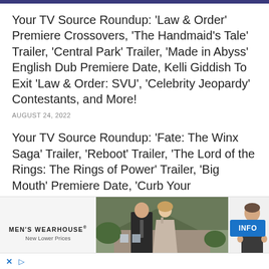Your TV Source Roundup: 'Law & Order' Premiere Crossovers, 'The Handmaid's Tale' Trailer, 'Central Park' Trailer, 'Made in Abyss' English Dub Premiere Date, Kelli Giddish To Exit 'Law & Order: SVU', 'Celebrity Jeopardy' Contestants, and More!
AUGUST 24, 2022
Your TV Source Roundup: 'Fate: The Winx Saga' Trailer, 'Reboot' Trailer, 'The Lord of the Rings: The Rings of Power' Trailer, 'Big Mouth' Premiere Date, 'Curb Your Enthusiasm' Renewed, 'The Villains of Valley View' Renewed, and More!
AUGUST 23, 2022
[Figure (other): Advertisement for Men's Wearhouse featuring a couple dressed formally (man in dark suit, woman in evening gown) and a man in a suit on the right. Text: MEN'S WEARHOUSE New Lower Prices. INFO button visible.]